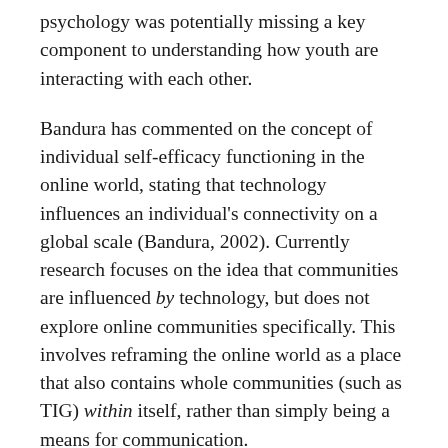psychology was potentially missing a key component to understanding how youth are interacting with each other.
Bandura has commented on the concept of individual self-efficacy functioning in the online world, stating that technology influences an individual's connectivity on a global scale (Bandura, 2002). Currently research focuses on the idea that communities are influenced by technology, but does not explore online communities specifically. This involves reframing the online world as a place that also contains whole communities (such as TIG) within itself, rather than simply being a means for communication.